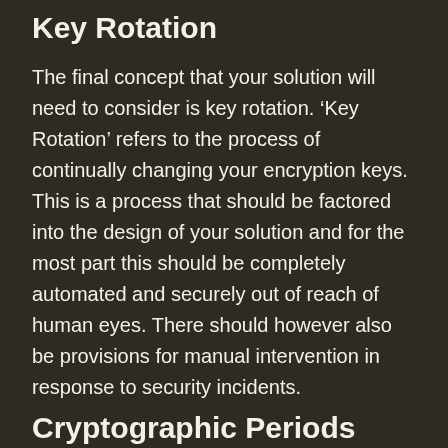Key Rotation
The final concept that your solution will need to consider is key rotation. ‘Key Rotation’ refers to the process of continually changing your encryption keys. This is a process that should be factored into the design of your solution and for the most part this should be completely automated and securely out of reach of human eyes. There should however also be provisions for manual intervention in response to security incidents.
Cryptographic Periods